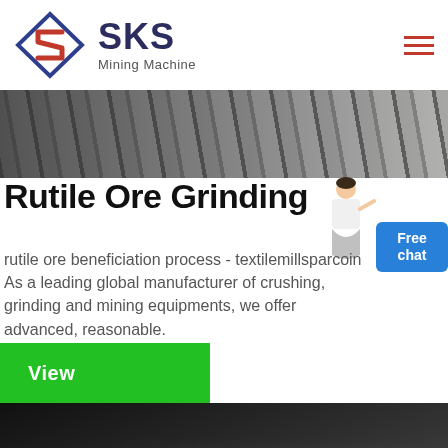[Figure (logo): SKS Mining Machine logo with diamond/arrow shaped red and blue emblem]
Rutile Ore Grinding
rutile ore beneficiation process - textilemillsparcoin As a leading global manufacturer of crushing, grinding and mining equipments, we offer advanced, reasonable.
[Figure (photo): Industrial mining machinery top banner image]
[Figure (photo): Dark industrial grinding machinery bottom image]
[Figure (illustration): Customer service representative character with free chat bubble]